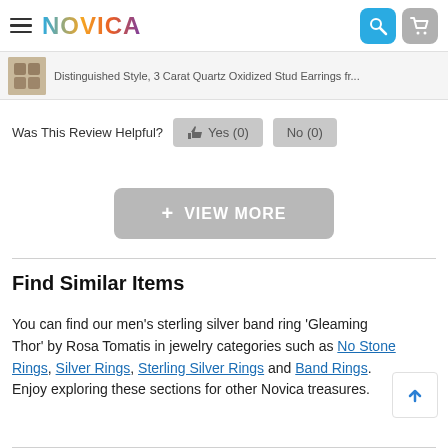NOVICA
Distinguished Style, 3 Carat Quartz Oxidized Stud Earrings fr...
Was This Review Helpful?  👍 Yes (0)  No (0)
+ VIEW MORE
Find Similar Items
You can find our men's sterling silver band ring 'Gleaming Thor' by Rosa Tomatis in jewelry categories such as No Stone Rings, Silver Rings, Sterling Silver Rings and Band Rings. Enjoy exploring these sections for other Novica treasures.